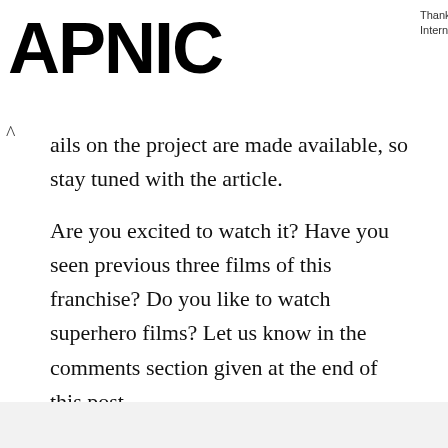APNIC | Thank you for helping us measure the Internet.
ails on the project are made available, so stay tuned with the article.
Are you excited to watch it? Have you seen previous three films of this franchise? Do you like to watch superhero films? Let us know in the comments section given at the end of this post.
[Figure (infographic): Social sharing buttons: Facebook (blue), Twitter (light blue), Pinterest (red), WhatsApp (green)]